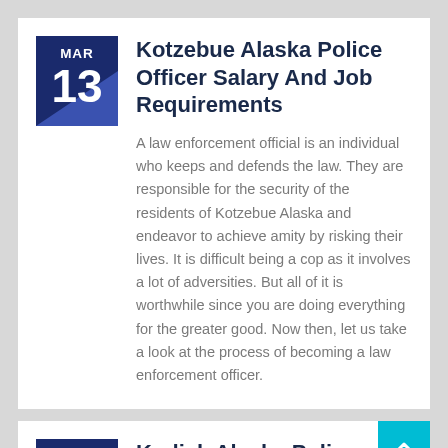Kotzebue Alaska Police Officer Salary And Job Requirements
A law enforcement official is an individual who keeps and defends the law. They are responsible for the security of the residents of Kotzebue Alaska and endeavor to achieve amity by risking their lives. It is difficult being a cop as it involves a lot of adversities. But all of it is worthwhile since you are doing everything for the greater good. Now then, let us take a look at the process of becoming a law enforcement officer.
Kodiak Alaska Police Officer Salary And Job Requirements